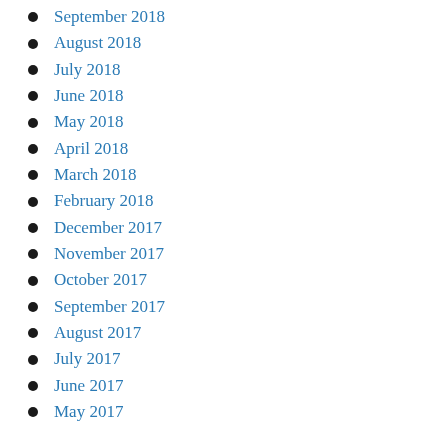September 2018
August 2018
July 2018
June 2018
May 2018
April 2018
March 2018
February 2018
December 2017
November 2017
October 2017
September 2017
August 2017
July 2017
June 2017
May 2017